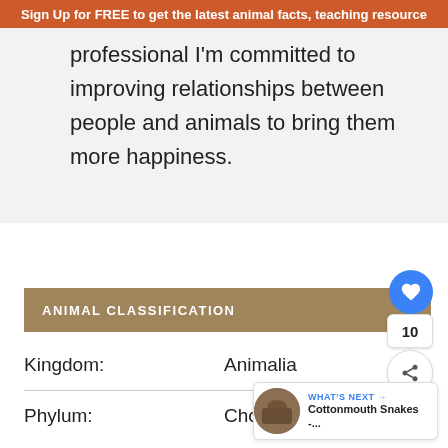Sign Up for FREE to get the latest animal facts, teaching resource
professional I'm committed to improving relationships between people and animals to bring them more happiness.
ANIMAL CLASSIFICATION
|  |  |
| --- | --- |
| Kingdom: | Animalia |
| Phylum: | Chordata |